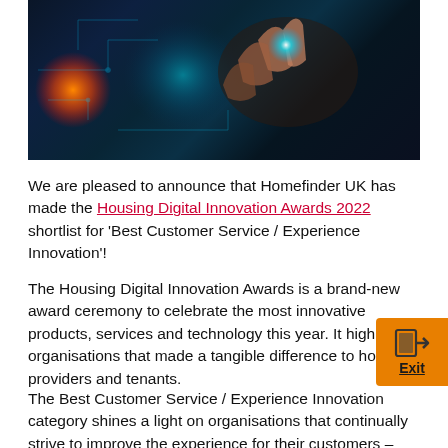[Figure (photo): A hand pointing at or touching a glowing digital interface screen with circuit lines and orange/blue glowing light effects on a dark background.]
We are pleased to announce that Homefinder UK has made the Housing Digital Innovation Awards 2022 shortlist for 'Best Customer Service / Experience Innovation'!
The Housing Digital Innovation Awards is a brand-new award ceremony to celebrate the most innovative products, services and technology this year. It highlights organisations that made a tangible difference to housing providers and tenants.
The Best Customer Service / Experience Innovation category shines a light on organisations that continually strive to improve the experience for their customers – something that Homefinder UK has put at the forefront of everything they do.